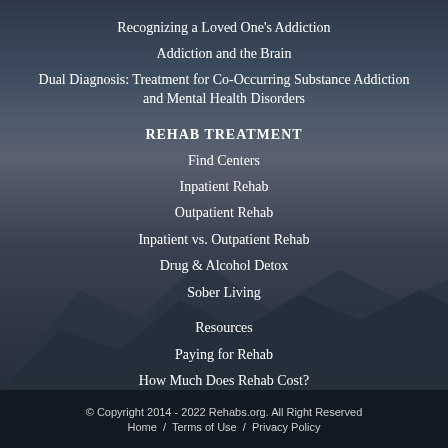Recognizing a Loved One's Addiction
Addiction and the Brain
Dual Diagnosis: Treatment for Co-Occurring Substance Addiction and Mental Health Disorders
REHAB TREATMENT
Find Centers
Inpatient Rehab
Outpatient Rehab
Inpatient vs. Outpatient Rehab
Drug & Alcohol Detox
Sober Living
Resources
Paying for Rehab
How Much Does Rehab Cost?
© Copyright 2014 - 2022 Rehabs.org. All Right Reserved  Home  /  Terms of Use  /  Privacy Policy